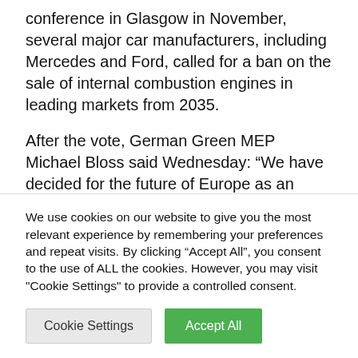conference in Glasgow in November, several major car manufacturers, including Mercedes and Ford, called for a ban on the sale of internal combustion engines in leading markets from 2035.
After the vote, German Green MEP Michael Bloss said Wednesday: “We have decided for the future of Europe as an automotive location.” In the future, the best electric cars…
We use cookies on our website to give you the most relevant experience by remembering your preferences and repeat visits. By clicking “Accept All”, you consent to the use of ALL the cookies. However, you may visit "Cookie Settings" to provide a controlled consent.